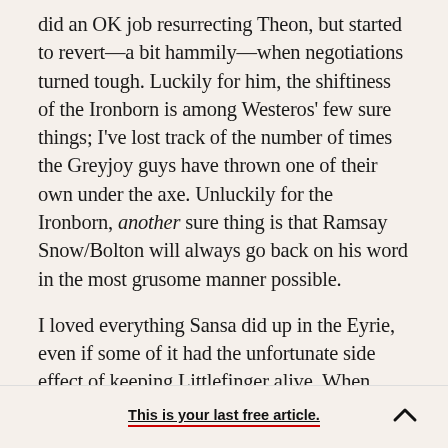did an OK job resurrecting Theon, but started to revert—a bit hammily—when negotiations turned tough. Luckily for him, the shiftiness of the Ironborn is among Westeros' few sure things; I've lost track of the number of times the Greyjoy guys have thrown one of their own under the axe. Unluckily for the Ironborn, another sure thing is that Ramsay Snow/Bolton will always go back on his word in the most grusome manner possible.
I loved everything Sansa did up in the Eyrie, even if some of it had the unfortunate side effect of keeping Littlefinger alive. When Petyr approaches
This is your last free article.